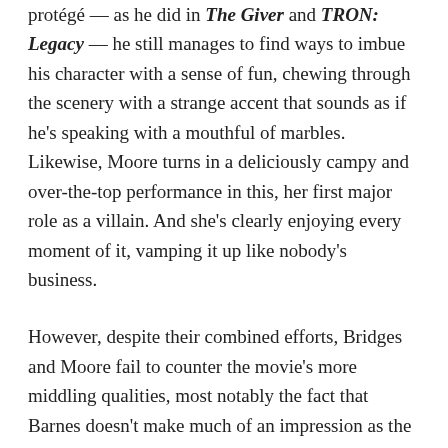protégé — as he did in The Giver and TRON: Legacy — he still manages to find ways to imbue his character with a sense of fun, chewing through the scenery with a strange accent that sounds as if he's speaking with a mouthful of marbles. Likewise, Moore turns in a deliciously campy and over-the-top performance in this, her first major role as a villain. And she's clearly enjoying every moment of it, vamping it up like nobody's business.
However, despite their combined efforts, Bridges and Moore fail to counter the movie's more middling qualities, most notably the fact that Barnes doesn't make much of an impression as the titular character and that the solid supporting cast (which also includes Djimon Hounsou, Olivia Williams and Antje Traue) are given little to do. There's also the matter of the film's woefully unconvincing CGI, its